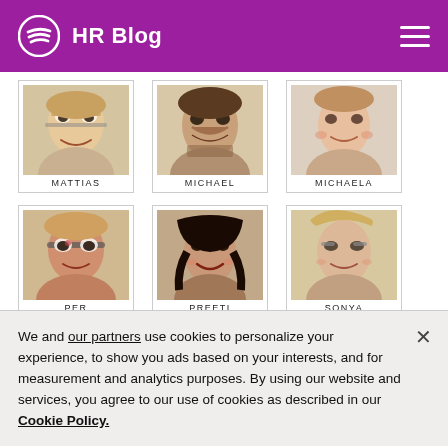HR Blog
[Figure (illustration): Portrait illustration of Mattias]
MATTIAS
[Figure (illustration): Portrait illustration of Michael]
MICHAEL
[Figure (illustration): Portrait illustration of Michaela]
MICHAELA
[Figure (illustration): Portrait illustration of Per]
PER
[Figure (illustration): Portrait illustration of Preeti]
PREETI
[Figure (illustration): Portrait illustration of Sonya]
SONYA
Follow Life at Spotify
We and our partners use cookies to personalize your experience, to show you ads based on your interests, and for measurement and analytics purposes. By using our website and services, you agree to our use of cookies as described in our Cookie Policy.